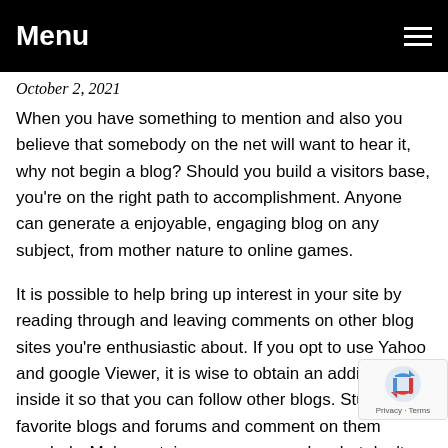Menu
October 2, 2021
When you have something to mention and also you believe that somebody on the net will want to hear it, why not begin a blog? Should you build a visitors base, you're on the right path to accomplishment. Anyone can generate a enjoyable, engaging blog on any subject, from mother nature to online games.
It is possible to help bring up interest in your site by reading through and leaving comments on other blog sites you're enthusiastic about. If you opt to use Yahoo and google Viewer, it is wise to obtain an additional file inside it so that you can follow other blogs. Study your favorite blogs and forums and comment on them regularly. Make certain your comme… value, but don't think twice to remark for those who hav… thi…